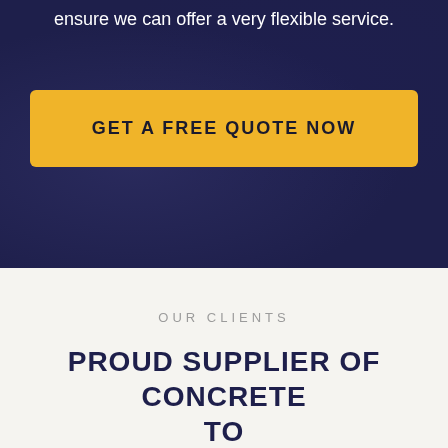ensure we can offer a very flexible service.
GET A FREE QUOTE NOW
OUR CLIENTS
PROUD SUPPLIER OF CONCRETE TO